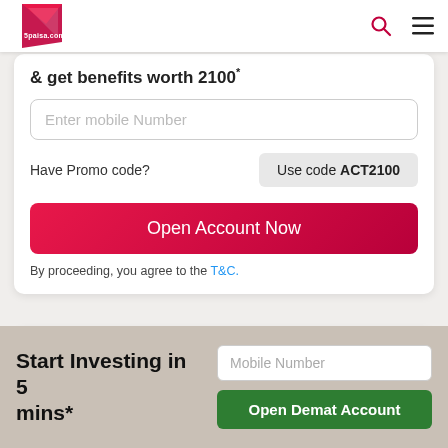[Figure (screenshot): 5paisa.com website logo in top-left corner of navigation bar]
[Figure (screenshot): Search icon (magnifying glass) in top navigation bar]
[Figure (screenshot): Hamburger menu icon in top navigation bar]
& get benefits worth 2100
Enter mobile Number
Have Promo code?
Use code ACT2100
Open Account Now
By proceeding, you agree to the T&C.
| Index | Value1 | Value2 |
| --- | --- | --- |
| SENSEX | 17,563.25 | 38,813.35 |
| 58,842.05 | 17,563.25 | 38,812.35 |
Start Investing in 5 mins*
Mobile Number
Open Demat Account